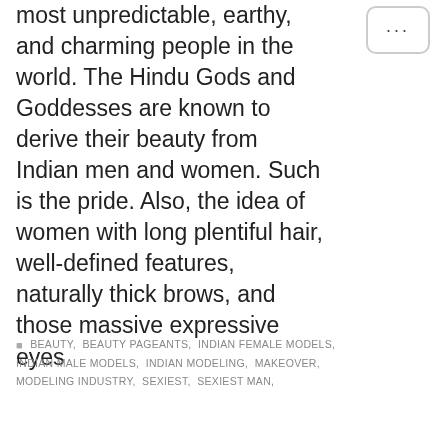most unpredictable, earthy, and charming people in the world. The Hindu Gods and Goddesses are known to derive their beauty from Indian men and women. Such is the pride. Also, the idea of women with long plentiful hair, well-defined features, naturally thick brows, and those massive expressive eyes
BEAUTY, BEAUTY PAGEANTS, INDIAN FEMALE MODELS, INDIAN MALE MODELS, INDIAN MODELING, MAKEOVER, MODELING INDUSTRY, SEXIEST, SEXIEST MAN,
[Figure (logo): World Modelime circle logo with WM initials in red on black background]
world modelime info
POST AUTHOR
FOLLOW US
[Figure (other): Facebook Messenger chat button (blue circle with white messenger bolt icon)]
P